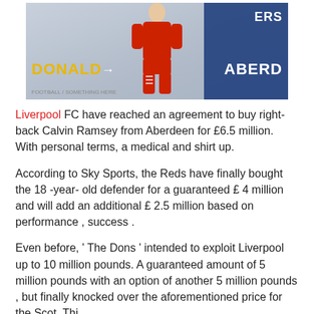[Figure (photo): A football player in red Aberdeen kit standing on a pitch, with DONALD signage in yellow and ABERD text visible in white on a blue background.]
Liverpool FC have reached an agreement to buy right-back Calvin Ramsey from Aberdeen for £6.5 million. With personal terms, a medical and shirt up.
According to Sky Sports, the Reds have finally bought the 18 -year- old defender for a guaranteed £ 4 million and will add an additional £ 2.5 million based on performance , success .
Even before, ' The Dons ' intended to exploit Liverpool up to 10 million pounds. A guaranteed amount of 5 million pounds with an option of another 5 million pounds , but finally knocked over the aforementioned price for the Scot. Thi...